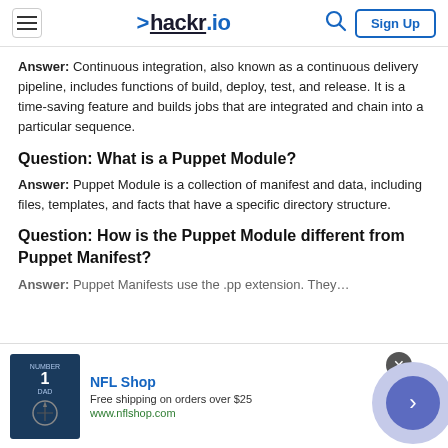hackr.io
Answer: Continuous integration, also known as a continuous delivery pipeline, includes functions of build, deploy, test, and release. It is a time-saving feature and builds jobs that are integrated and chain into a particular sequence.
Question: What is a Puppet Module?
Answer: Puppet Module is a collection of manifest and data, including files, templates, and facts that have a specific directory structure.
Question: How is the Puppet Module different from Puppet Manifest?
Answer: Puppet Manifests use the .pp extension. They…
[Figure (other): NFL Shop advertisement banner with jersey image, free shipping offer, and navigation arrow button]